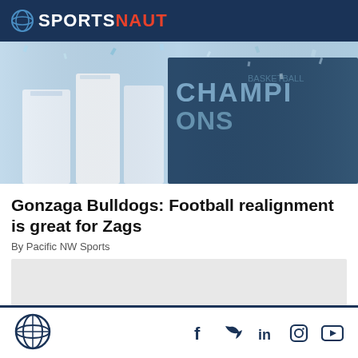SPORTSNAUT
[Figure (photo): Basketball players celebrating with confetti, 'CHAMPIONS' text visible on banners in background]
Gonzaga Bulldogs: Football realignment is great for Zags
By Pacific NW Sports
[Figure (other): Advertisement placeholder box]
SPORTSNAUT logo and social media icons: Facebook, Twitter, LinkedIn, Instagram, YouTube